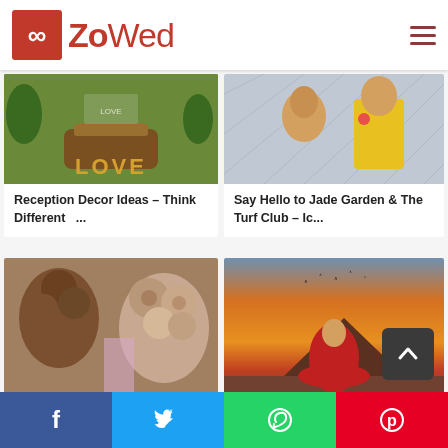ZoWed
[Figure (photo): Reception decor with LOVE letters and barrel table setup outdoors]
Reception Decor Ideas – Think Different   ...
[Figure (photo): Couple in Indian wedding attire, man in yellow kurta, woman in green]
Say Hello to Jade Garden & The Turf Club – Ic...
[Figure (photo): Trending bridal hairstyles collage with flower buns and braids]
Trending Bridal Hairstyles that every to-be Bride ...
[Figure (photo): Bride in red lehenga spinning at sunset with birds in background]
The 6 Months Wedding Checklist!